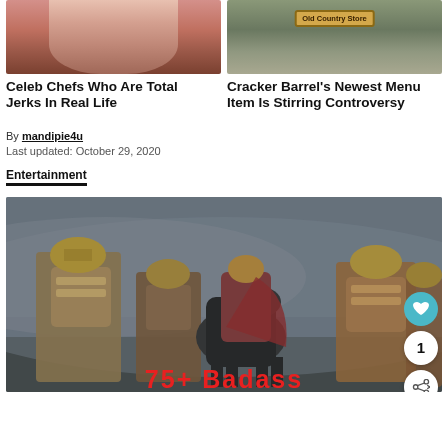[Figure (photo): Cropped photo of a woman's face with dark hair]
[Figure (photo): Cracker Barrel Old Country Store sign with brown and tan background]
Celeb Chefs Who Are Total Jerks In Real Life
Cracker Barrel's Newest Menu Item Is Stirring Controversy
By mandipie4u
Last updated: October 29, 2020
Entertainment
[Figure (photo): Roman soldiers in armor and helmets standing in a foggy scene with a dark horse]
75+ Badass